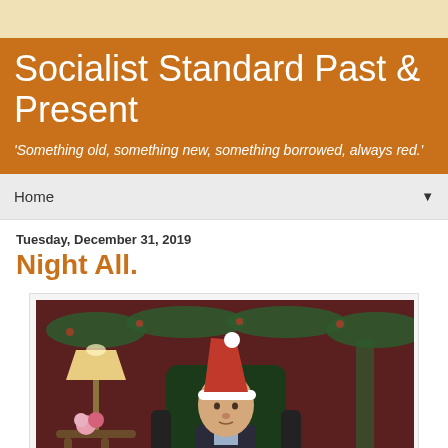Socialist Standard Past & Present
'Something old, something new, something borrowed, always red.'
Home
Tuesday, December 31, 2019
Night All.
[Figure (photo): An elderly man wearing a Santa hat sits in a large dark leather armchair. Christmas garland decorates the background. A lamp and small table with flowers are to his left. The setting appears festive.]